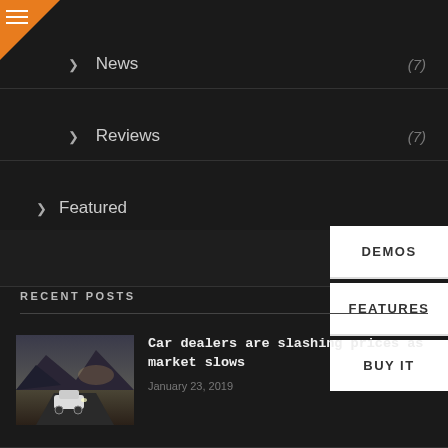> News (7)
> Reviews (7)
> Featured
[Figure (screenshot): Navigation buttons on right side: DEMOS, FEATURES, BUY IT]
RECENT POSTS
[Figure (photo): A white SUV driving on a road with mountains and dramatic sky in the background]
Car dealers are slashing prices as market slows
January 23, 2019